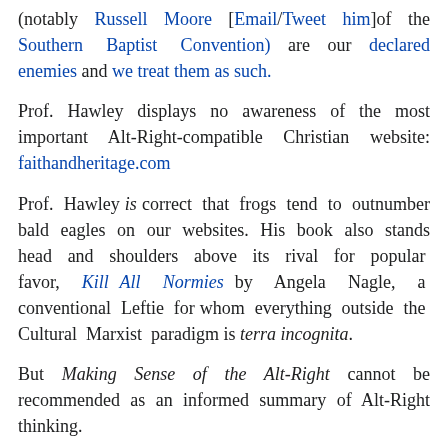(notably Russell Moore [Email/Tweet him]of the Southern Baptist Convention) are our declared enemies and we treat them as such.
Prof. Hawley displays no awareness of the most important Alt-Right-compatible Christian website: faithandheritage.com
Prof. Hawley is correct that frogs tend to outnumber bald eagles on our websites. His book also stands head and shoulders above its rival for popular favor, Kill All Normies by Angela Nagle, a conventional Leftie for whom everything outside the Cultural Marxist paradigm is terra incognita.
But Making Sense of the Alt-Right cannot be recommended as an informed summary of Alt-Right thinking.
[Figure (other): Broken image placeholder with filename 51EklFKUVdL._SX346_BO1,204,203,200_]